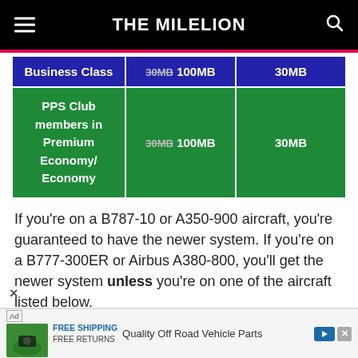THE MILELION
| Business Class | 30MB 100MB | 30MB |
| --- | --- | --- |
| PPS Club members in Premium Economy/ Economy | 30MB 100MB | 30MB |
If you're on a B787-10 or A350-900 aircraft, you're guaranteed to have the newer system. If you're on a B777-300ER or Airbus A380-800, you'll get the newer system unless you're on one of the aircraft listed below.
[Figure (screenshot): Ad banner: Free Shipping Free Returns, Quality Off Road Vehicle Parts]